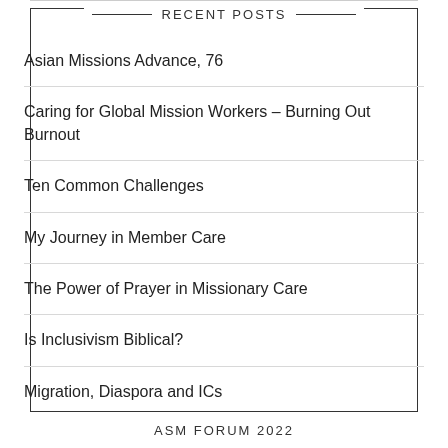RECENT POSTS
Asian Missions Advance, 76
Caring for Global Mission Workers – Burning Out Burnout
Ten Common Challenges
My Journey in Member Care
The Power of Prayer in Missionary Care
Is Inclusivism Biblical?
Migration, Diaspora and ICs
ASM FORUM 2022